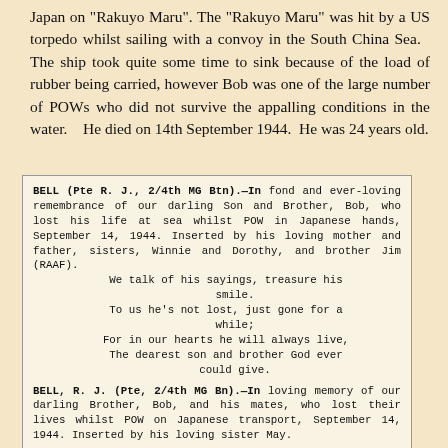Japan on "Rakuyo Maru". The "Rakuyo Maru" was hit by a US torpedo whilst sailing with a convoy in the South China Sea. The ship took quite some time to sink because of the load of rubber being carried, however Bob was one of the large number of POWs who did not survive the appalling conditions in the water. He died on 14th September 1944. He was 24 years old.
[Figure (other): Scanned newspaper clipping containing two memorial notices for BELL (Pte R. J., 2/4th MG Btn) describing his death as POW on Japanese transport on September 14, 1944, inserted by family members, with verse.]